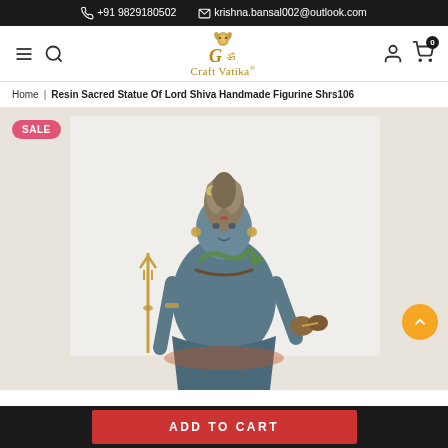+91 9829180502  krishna.bansal002@outlook.com
[Figure (logo): Craft Vatika logo with Ganesha icon and stylized G, text reading Craft Vatika with trademark symbol]
Home | Resin Sacred Statue Of Lord Shiva Handmade Figurine Shrs106
[Figure (photo): Product photo of a resin handmade figurine of Lord Shiva, shown seated, holding a trishul (trident) in one hand and a damaru in the other, with a snake around the neck and matted hair, finished in bronze-blue color tones. A pink SALE badge is visible in the top-left corner.]
ADD TO CART